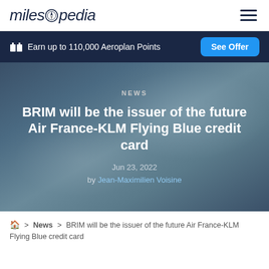milesopedia
Earn up to 110,000 Aeroplan Points — See Offer
NEWS
BRIM will be the issuer of the future Air France-KLM Flying Blue credit card
Jun 23, 2022
by Jean-Maximilien Voisine
🏠 > News > BRIM will be the issuer of the future Air France-KLM Flying Blue credit card